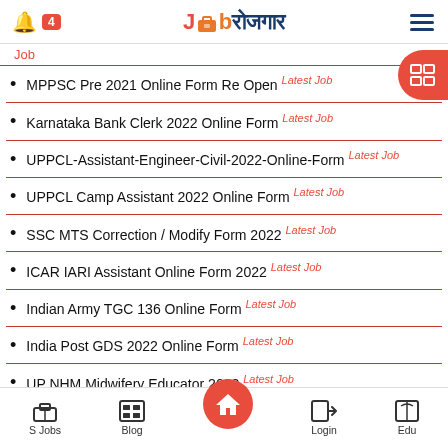Job Rojgar (JobRojgar) - navigation header with bell icon, badge 4, logo, hamburger menu
MPPSC Pre 2021 Online Form Re Open Latest Job
Karnataka Bank Clerk 2022 Online Form Latest Job
UPPCL-Assistant-Engineer-Civil-2022-Online-Form Latest Job
UPPCL Camp Assistant 2022 Online Form Latest Job
SSC MTS Correction / Modify Form 2022 Latest Job
ICAR IARI Assistant Online Form 2022 Latest Job
Indian Army TGC 136 Online Form Latest Job
India Post GDS 2022 Online Form Latest Job
UP NHM Midwifery Educator 2022 Latest Job
S Jobs | Blog | Home | Login | Edu